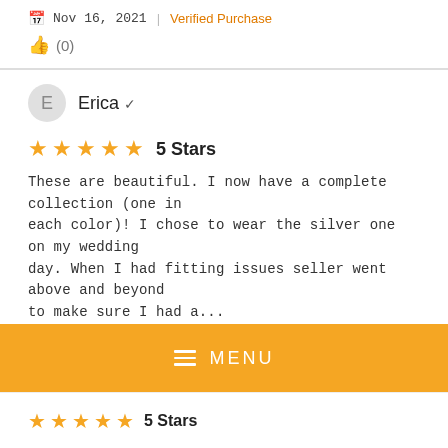Nov 16, 2021 | Verified Purchase
(0)
Erica ✓
5 Stars
These are beautiful. I now have a complete collection (one in each color)! I chose to wear the silver one on my wedding day. When I had fitting issues seller went above and beyond to make sure I had a...
Show more
Nov 16, 2021 | Verified Purchase
(0)
MENU
5 Stars